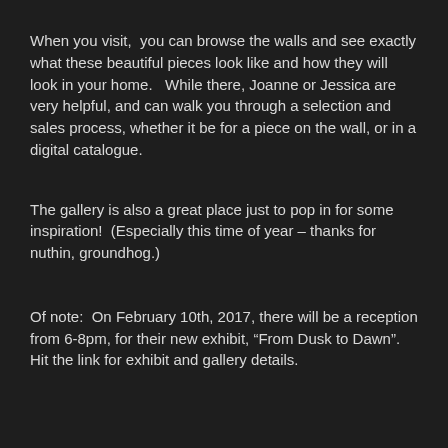When you visit,  you can browse the walls and see exactly what these beautiful pieces look like and how they will look in your home.   While there, Joanne or Jessica are very helpful, and can walk you through a selection and sales process, whether it be for a piece on the wall, or in a digital catalogue.
The gallery is also a great place just to pop in for some inspiration!  (Especially this time of year – thanks for nuthin, groundhog.)
Of note:  On February 10th, 2017, there will be a reception from 6-8pm, for their new exhibit, “From Dusk to Dawn”.    Hit the link for exhibit and gallery details.